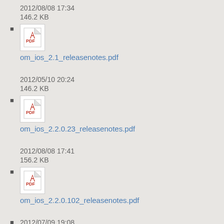2012/08/08 17:34
146.2 KB
om_ios_2.1_releasenotes.pdf
2012/05/10 20:24
146.2 KB
om_ios_2.2.0.23_releasenotes.pdf
2012/08/08 17:41
156.2 KB
om_ios_2.2.0.102_releasenotes.pdf
2012/07/09 19:08
158.7 KB